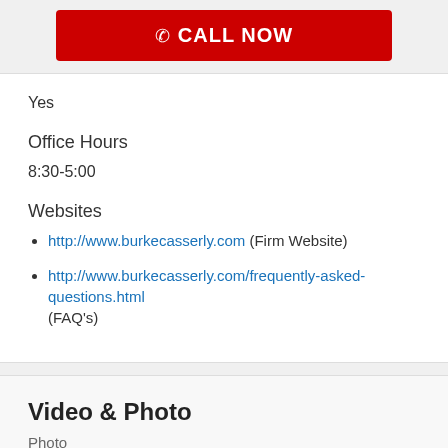[Figure (other): Red CALL NOW button with phone icon]
Yes
Office Hours
8:30-5:00
Websites
http://www.burkecasserly.com (Firm Website)
http://www.burkecasserly.com/frequently-asked-questions.html (FAQ's)
Video & Photo
Photo